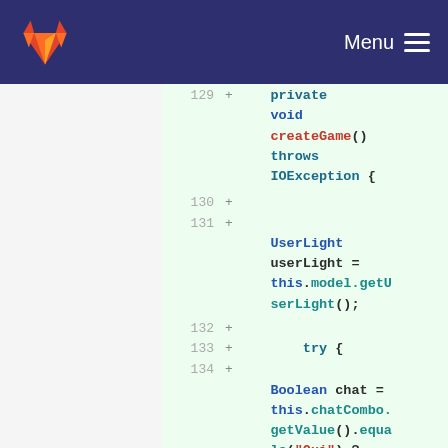GitLab — Menu navigation bar
[Figure (screenshot): GitLab code diff view showing lines 129-135 of a Java file with added lines (green background). Code shows private void createGame() throws IOException { with UserLight userLight = this.model.getUserLight(); then try { then Boolean chat = this.chatCombo.getValue().equals("Oui") ? true : false;]